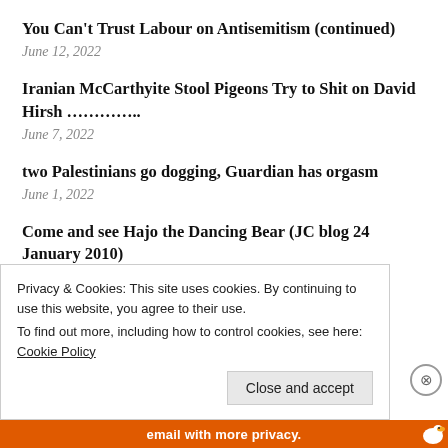You Can't Trust Labour on Antisemitism (continued)
June 12, 2022
Iranian McCarthyite Stool Pigeons Try to Shit on David Hirsh …………...
June 7, 2022
two Palestinians go dogging, Guardian has orgasm
June 1, 2022
Come and see Hajo the Dancing Bear (JC blog 24 January 2010)
May 21, 2022
Privacy & Cookies: This site uses cookies. By continuing to use this website, you agree to their use.
To find out more, including how to control cookies, see here: Cookie Policy
Close and accept
email with more privacy.